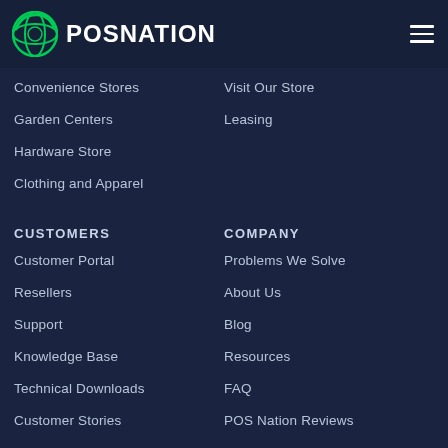POSNATION
Convenience Stores
Visit Our Store
Garden Centers
Leasing
Hardware Store
Clothing and Apparel
CUSTOMERS
COMPANY
Customer Portal
Problems We Solve
Resellers
About Us
Support
Blog
Knowledge Base
Resources
Technical Downloads
FAQ
Customer Stories
POS Nation Reviews
Terms and Conditions